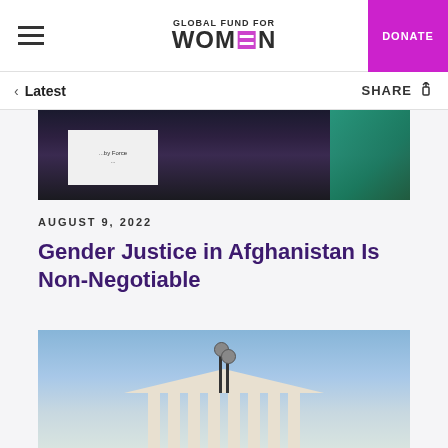GLOBAL FUND FOR WOMEN | DONATE
< Latest | SHARE
[Figure (photo): Protest photo showing people holding signs and flags, dark background with teal flag visible on right side]
AUGUST 9, 2022
Gender Justice in Afghanistan Is Non-Negotiable
[Figure (photo): Photo of a government building (court) with white columns and pediment under blue sky, with lamp posts in foreground]